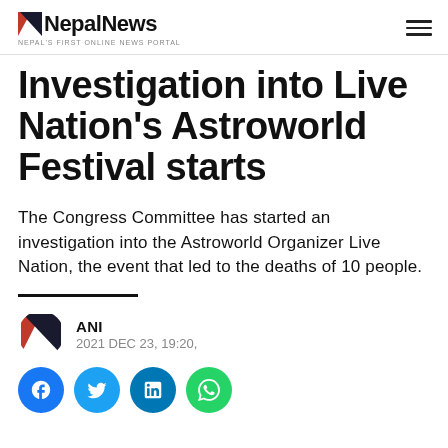NepalNews — NEPAL'S FIRST ONLINE NEWS PORTAL
Investigation into Live Nation's Astroworld Festival starts
The Congress Committee has started an investigation into the Astroworld Organizer Live Nation, the event that led to the deaths of 10 people.
ANI
2021 DEC 23, 19:20,